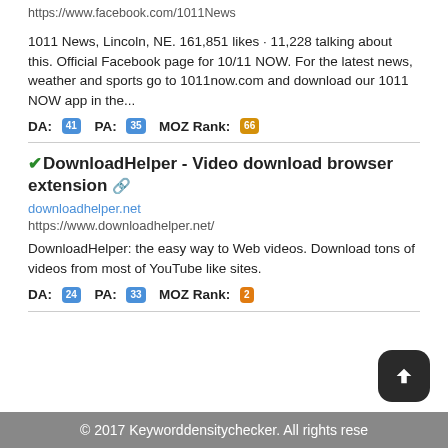https://www.facebook.com/1011News
1011 News, Lincoln, NE. 161,851 likes · 11,228 talking about this. Official Facebook page for 10/11 NOW. For the latest news, weather and sports go to 1011now.com and download our 1011 NOW app in the...
DA: 41 PA: 35 MOZ Rank: 66
✔DownloadHelper - Video download browser extension 🔗
downloadhelper.net
https://www.downloadhelper.net/
DownloadHelper: the easy way to Web videos. Download tons of videos from most of YouTube like sites.
DA: 24 PA: 33 MOZ Rank: 2
© 2017 Keyworddensitychecker. All rights rese